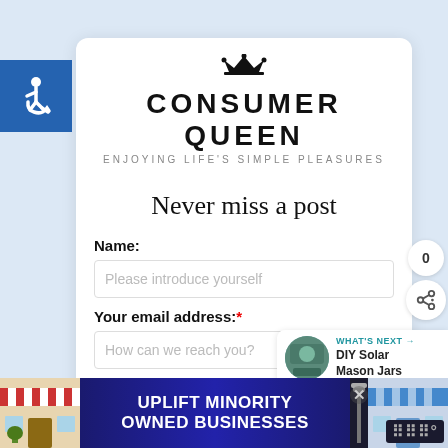[Figure (logo): Blue square with white wheelchair accessibility icon]
[Figure (logo): Consumer Queen logo with crown icon and tagline: ENJOYING LIFE'S SIMPLE PLEASURES]
Never miss a post
Name:
Please introduce yourself
Your email address:*
How can we reach you?
SUBSCRIBE »
[Figure (infographic): Share count widget showing 0 and share icon]
[Figure (infographic): What's Next widget with DIY Solar Mason Jars thumbnail]
[Figure (infographic): Bottom ad banner: UPLIFT MINORITY OWNED BUSINESSES with storefront images]